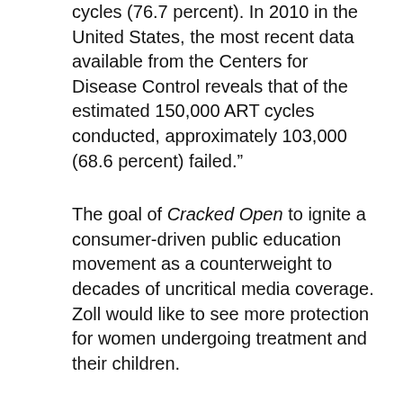cycles (76.7 percent). In 2010 in the United States, the most recent data available from the Centers for Disease Control reveals that of the estimated 150,000 ART cycles conducted, approximately 103,000 (68.6 percent) failed.”
The goal of Cracked Open to ignite a consumer-driven public education movement as a counterweight to decades of uncritical media coverage. Zoll would like to see more protection for women undergoing treatment and their children.